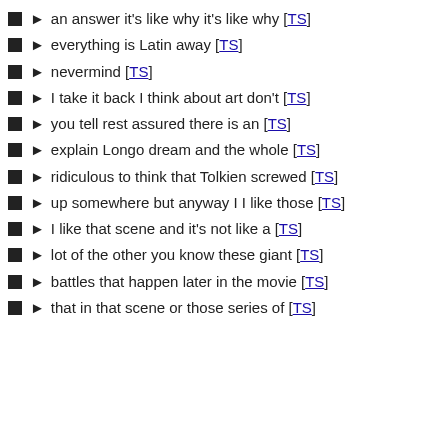an answer it's like why it's like why [TS]
everything is Latin away [TS]
nevermind [TS]
I take it back I think about art don't [TS]
you tell rest assured there is an [TS]
explain Longo dream and the whole [TS]
ridiculous to think that Tolkien screwed [TS]
up somewhere but anyway I I like those [TS]
I like that scene and it's not like a [TS]
lot of the other you know these giant [TS]
battles that happen later in the movie [TS]
that in that scene or those series of [TS]